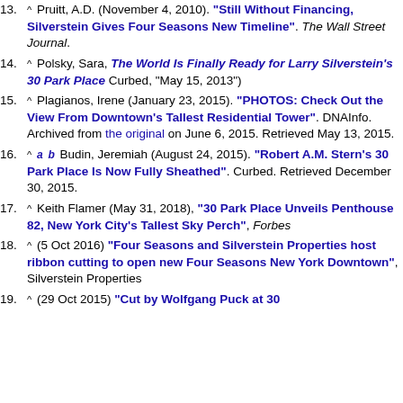13. ^ Pruitt, A.D. (November 4, 2010). "Still Without Financing, Silverstein Gives Four Seasons New Timeline". The Wall Street Journal.
14. ^ Polsky, Sara, The World Is Finally Ready for Larry Silverstein's 30 Park Place Curbed, "May 15, 2013")
15. ^ Plagianos, Irene (January 23, 2015). "PHOTOS: Check Out the View From Downtown's Tallest Residential Tower". DNAInfo. Archived from the original on June 6, 2015. Retrieved May 13, 2015.
16. ^ a b Budin, Jeremiah (August 24, 2015). "Robert A.M. Stern's 30 Park Place Is Now Fully Sheathed". Curbed. Retrieved December 30, 2015.
17. ^ Keith Flamer (May 31, 2018), "30 Park Place Unveils Penthouse 82, New York City's Tallest Sky Perch", Forbes
18. ^ (5 Oct 2016) "Four Seasons and Silverstein Properties host ribbon cutting to open new Four Seasons New York Downtown", Silverstein Properties
19. ^ (29 Oct 2015) "Cut by Wolfgang Puck at 30